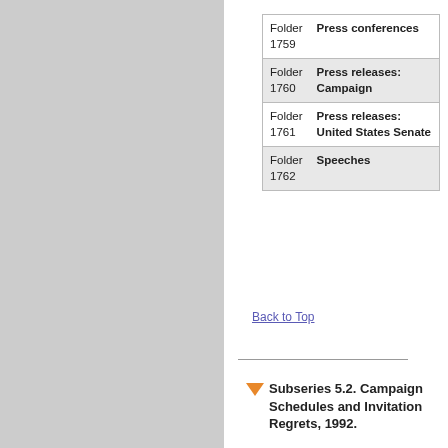| Folder | Title |
| --- | --- |
| Folder 1759 | Press conferences |
| Folder 1760 | Press releases: Campaign |
| Folder 1761 | Press releases: United States Senate |
| Folder 1762 | Speeches |
Back to Top
Subseries 5.2. Campaign Schedules and Invitation Regrets, 1992.